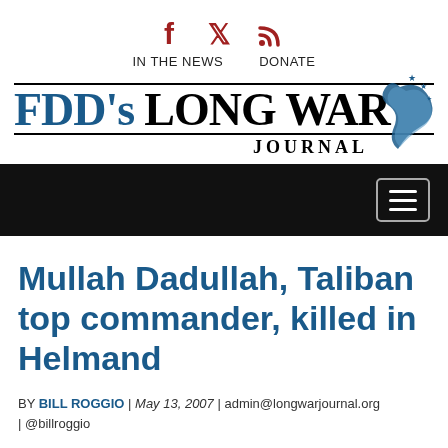[Figure (logo): FDD's Long War Journal website header with social icons (Facebook, Twitter, RSS), navigation links (IN THE NEWS, DONATE), the FDD's LONG WAR JOURNAL logo with decorative stars and wave graphic]
Mullah Dadullah, Taliban top commander, killed in Helmand
BY BILL ROGGIO | May 13, 2007 | admin@longwarjournal.org | @billroggio